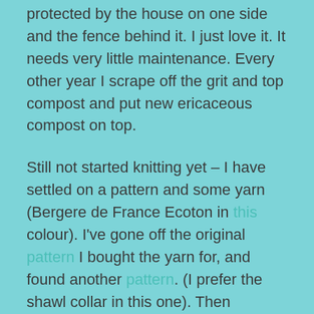protected by the house on one side and the fence behind it. I just love it. It needs very little maintenance. Every other year I scrape off the grit and top compost and put new ericaceous compost on top.
Still not started knitting yet – I have settled on a pattern and some yarn (Bergere de France Ecoton in this colour). I've gone off the original pattern I bought the yarn for, and found another pattern. (I prefer the shawl collar in this one). Then realised I needed more yarn. Luckily you can order from Bergere de France by dye lot number! which is excellent. However, what has happened now is that the extra yarn has arrived, but the original yarn has not. Apparently their system removes my house number from the label, so it's probably gone back to the factory. In France. Yeah. Still, I'm enjoying the anticipation. And the colour of the yarn is even better in real life than I'd